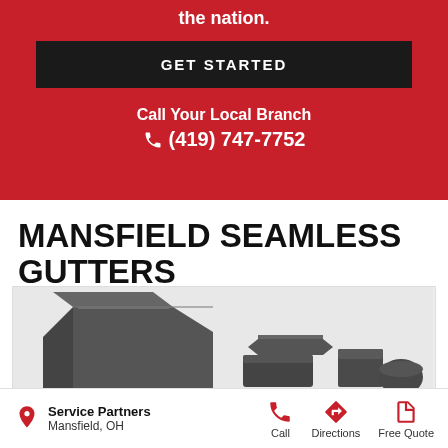the nation.
GET STARTED
Call Your Local Branch
(419) 747-7752
MANSFIELD SEAMLESS GUTTERS
[Figure (photo): Gutter product components including corner pieces and end caps in dark charcoal/gray color]
Service Partners
Mansfield, OH
Call
Directions
Free Quote